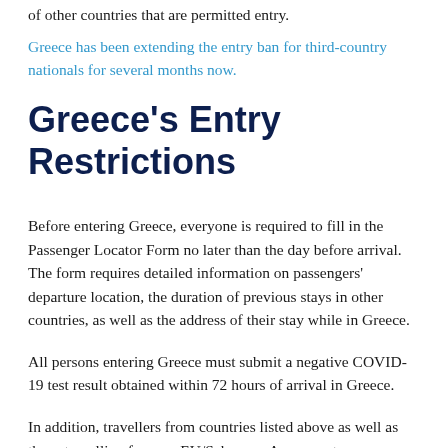of other countries that are permitted entry.
Greece has been extending the entry ban for third-country nationals for several months now.
Greece's Entry Restrictions
Before entering Greece, everyone is required to fill in the Passenger Locator Form no later than the day before arrival. The form requires detailed information on passengers' departure location, the duration of previous stays in other countries, as well as the address of their stay while in Greece.
All persons entering Greece must submit a negative COVID-19 test result obtained within 72 hours of arrival in Greece.
In addition, travellers from countries listed above as well as those travelling from an EU/Schengen Area country are allowed to enter